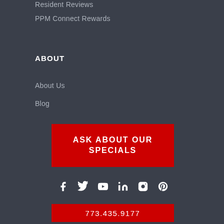Resident Reviews
PPM Connect Rewards
ABOUT
About Us
Blog
[Figure (other): Red button with text ASK ABOUT OUR SPECIALS]
[Figure (other): Social media icons: Facebook, Twitter, YouTube, LinkedIn, Instagram, Pinterest]
[Figure (other): Red button with phone number 773.435.9177]